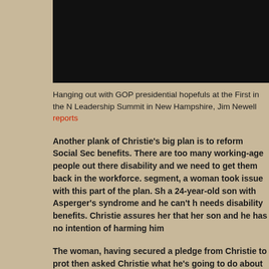[Figure (photo): Black header bar/image at the top of the page]
Hanging out with GOP presidential hopefuls at the First in the Nation Leadership Summit in New Hampshire, Jim Newell reports
Another plank of Christie's big plan is to reform Social Security disability benefits. There are too many working-age people out there collecting disability and we need to get them back in the workforce. During this segment, a woman took issue with this part of the plan. She said she has a 24-year-old son with Asperger's syndrome and he can't hold a job and needs disability benefits. Christie assures her that her son is protected and he has no intention of harming him
The woman, having secured a pledge from Christie to protect her son, then asked Christie what he's going to do about all the illegal immigrants coming to take our jobs. Near the end of his answer Christie dropped another one of his hard truths, that the 11 or 12 million undocumented immigrants in the country cannot be relied upon to all "so